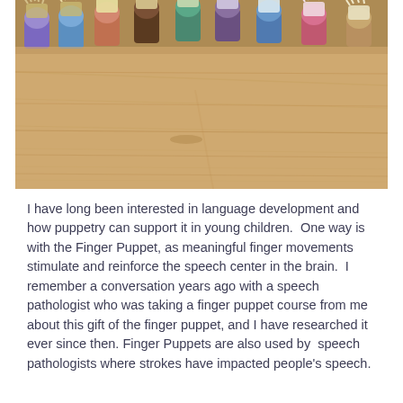[Figure (photo): Photo of colorful knitted finger puppets arranged in a semicircle on a wooden table surface. The puppets have yarn hair and are dressed in various colors including blue, pink, green, brown, and purple.]
I have long been interested in language development and how puppetry can support it in young children.  One way is with the Finger Puppet, as meaningful finger movements stimulate and reinforce the speech center in the brain.  I remember a conversation years ago with a speech pathologist who was taking a finger puppet course from me about this gift of the finger puppet, and I have researched it ever since then. Finger Puppets are also used by  speech pathologists where strokes have impacted people's speech.